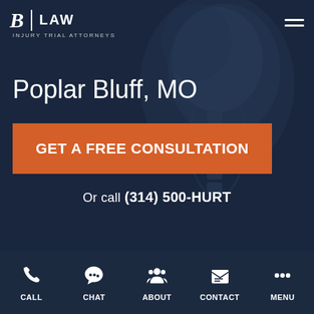B LAW INJURY TRIAL ATTORNEYS
Poplar Bluff, MO
GET A FREE CONSULTATION
Or call (314) 500-HURT
CALL  CHAT  ABOUT  CONTACT  MENU